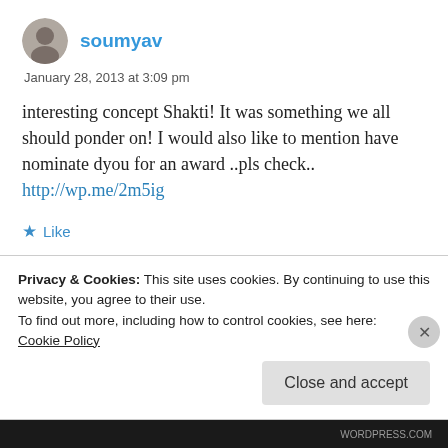[Figure (photo): Small circular avatar photo of user soumyav]
soumyav
January 28, 2013 at 3:09 pm
interesting concept Shakti! It was something we all should ponder on! I would also like to mention have nominate dyou for an award ..pls check.. http://wp.me/2m5ig
★ Like
Reply
Privacy & Cookies: This site uses cookies. By continuing to use this website, you agree to their use.
To find out more, including how to control cookies, see here:
Cookie Policy
Close and accept